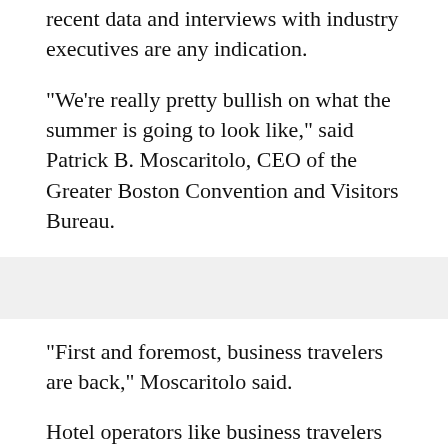recent data and interviews with industry executives are any indication.
"We're really pretty bullish on what the summer is going to look like," said Patrick B. Moscaritolo, CEO of the Greater Boston Convention and Visitors Bureau.
"First and foremost, business travelers are back," Moscaritolo said.
Hotel operators like business travelers because they often book three or four nights at a time rather than the shorter stays more common with leisure travelers. Business travelers are responsible for about 40 percent of hotel room nights in the Bosto...